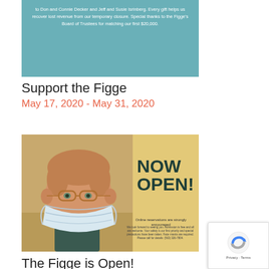[Figure (photo): Teal/blue banner image with white text about supporting the Figge museum, mentioning donors Don and Connie Decker and Jeff and Susie Isrinberg, and the Board of Trustees matching first $20,000.]
Support the Figge
May 17, 2020 - May 31, 2020
[Figure (photo): Yellow-background promotional image showing a man wearing a medical face mask on the left, with bold dark green text 'NOW OPEN!' on the right, and smaller text 'Online reservations are strongly encouraged'.]
The Figge is Open!
June 1, 2020 - September 30, 2020
[Figure (photo): Partially visible image at the bottom of the page, appears to show food or dessert items.]